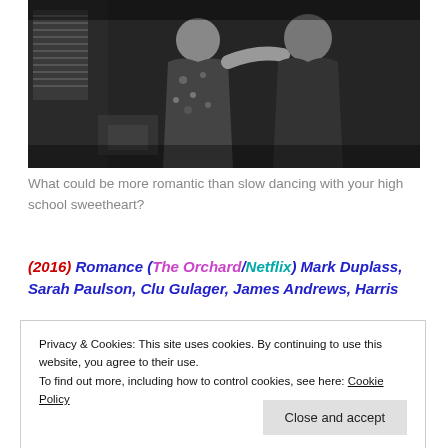[Figure (photo): Black and white photo of two people slow dancing indoors, a woman in a floral dress and a man in dark clothing]
What could be more romantic than slow dancing with your high school sweetheart?
(2016) Romance (The Orchard/Netflix) Mark Duplass, Sarah Paulson, Clu Gulager, James Andrews, Harris
Privacy & Cookies: This site uses cookies. By continuing to use this website, you agree to their use.
To find out more, including how to control cookies, see here: Cookie Policy